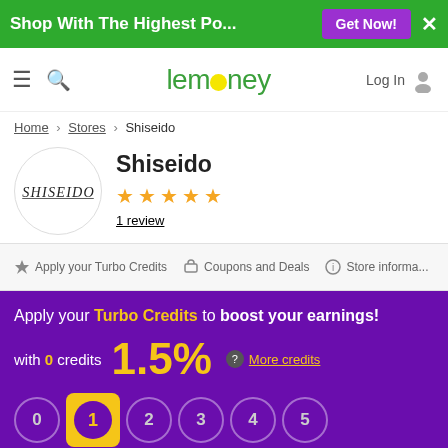Shop With The Highest Po...  Get Now!  ✕
[Figure (logo): Lemoney website logo with green text and yellow circle replacing the 'o']
Home › Stores › Shiseido
[Figure (logo): Shiseido brand logo in circular frame]
Shiseido
★ ★ ★ ★ ★
1 review
Apply your Turbo Credits   Coupons and Deals   Store informa...
Apply your Turbo Credits to boost your earnings!
with 0 credits  1.5%   ? More credits
0  1  2  3  4  5